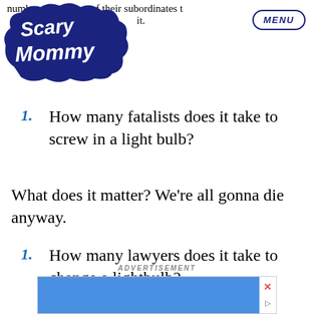[Figure (logo): Scary Mommy logo - dark navy cloud shape with stylized cursive text]
numb... one of their subordinates t... it.
MENU
1. How many fatalists does it take to screw in a light bulb?
What does it matter? We're all gonna die anyway.
1. How many lawyers does it take to change a lightbulb?
ADVERTISEMENT
[Figure (other): Advertisement banner with blue background and close/play icons]